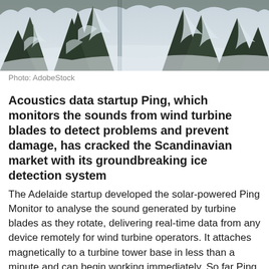[Figure (photo): Snow-covered coniferous trees in a winter forest landscape with a turbine tower visible in the background, photographed from below looking upward.]
Photo: AdobeStock
Acoustics data startup Ping, which monitors the sounds from wind turbine blades to detect problems and prevent damage, has cracked the Scandinavian market with its groundbreaking ice detection system
The Adelaide startup developed the solar-powered Ping Monitor to analyse the sound generated by turbine blades as they rotate, delivering real-time data from any device remotely for wind turbine operators. It attaches magnetically to a turbine tower base in less than a minute and can begin working immediately. So far Ping has installed 600 installations on wind turbines in 15 countries.